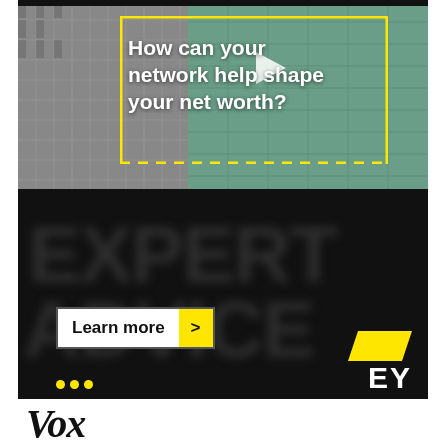[Figure (screenshot): Advertisement banner top half: architectural building photo with yellow rectangle border overlay, white play button triangle, white text 'How can your network help shape your net worth?']
[Figure (screenshot): Advertisement banner bottom half: dark blurred background with 'Learn more >' button (white box with yellow arrow), EY logo (yellow chevron and 'EY' text), yellow dots bottom left]
[Figure (logo): Vox media logo in bold italic serif font at bottom]